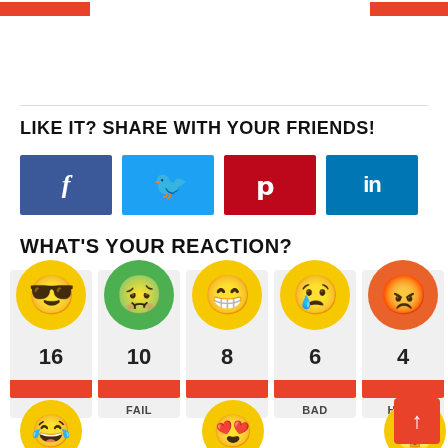LIKE IT? SHARE WITH YOUR FRIENDS!
[Figure (infographic): Four social share buttons: Facebook (blue), Twitter (light blue), Pinterest (dark red), LinkedIn (teal blue)]
WHAT'S YOUR REACTION?
[Figure (infographic): Five reaction emoji cards: SUPER (cool face, 16), FAIL (sick green face, 10), FUN (happy face, 8), BAD (sad face, 6), HATE (angry orange face, 4), each with orange bar and label]
[Figure (infographic): Bottom row of emoji reaction icons partially visible: laughing, heart-eyes, surprised]